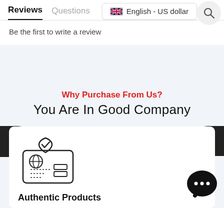Reviews  Questions
English - US dollar
Be the first to write a review
Why Purchase From Us?
You Are In Good Company
[Figure (illustration): Shield with checkmark and passport/ID card icon representing authentic products]
Authentic Products